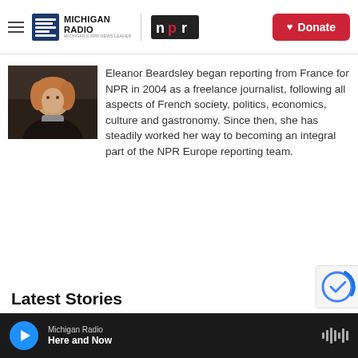Michigan Radio | NPR | Donate
[Figure (photo): Headshot photo of Eleanor Beardsley, a woman with reddish-blonde hair wearing a dark coat]
Eleanor Beardsley began reporting from France for NPR in 2004 as a freelance journalist, following all aspects of French society, politics, economics, culture and gastronomy. Since then, she has steadily worked her way to becoming an integral part of the NPR Europe reporting team.
Latest Stories
Michigan Radio | Here and Now